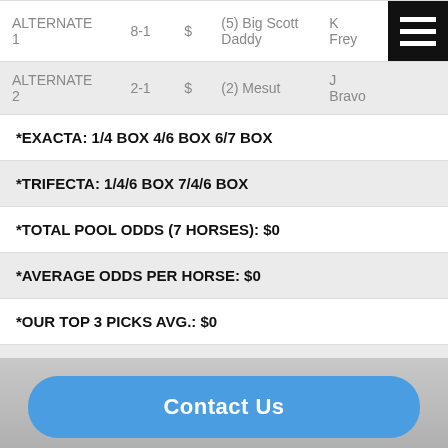| Label | Odds | $ | Horse | Jockey |  |
| --- | --- | --- | --- | --- | --- |
| ALTERNATE 1 | 8-1 | $ | (5) Big Scott Daddy | K Frey | [menu icon] |
| ALTERNATE 2 | 2-1 | $ | (2) Mesut | J Bravo |  |
*EXACTA: 1/4 BOX 4/6 BOX 6/7 BOX
*TRIFECTA: 1/4/6 BOX 7/4/6 BOX
*TOTAL POOL ODDS (7 HORSES): $0
*AVERAGE ODDS PER HORSE: $0
*OUR TOP 3 PICKS AVG.: $0
*HORSES with the Best “WIN” Percentage Record: 4/5/2/1